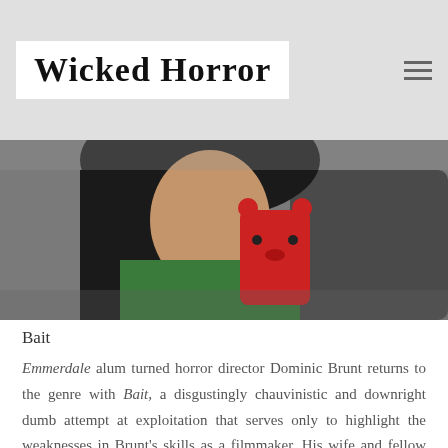Wicked Horror
[Figure (photo): A person with dark hair holding a red bear-shaped phone case/phone, wearing a green top, photographed in mirror or close-up. Another person in dark clothing visible in background.]
Bait
Emmerdale alum turned horror director Dominic Brunt returns to the genre with Bait, a disgustingly chauvinistic and downright dumb attempt at exploitation that serves only to highlight the weaknesses in Brunt's skills as a filmmaker. His wife and fellow Emmerdale survivor Joanne Mitchell takes a very literal battering alongside Irish actress